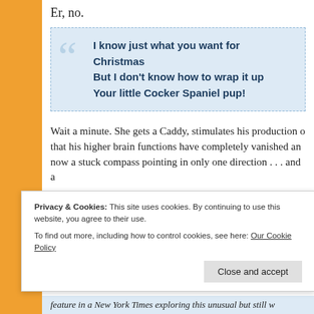Er, no.
I know just what you want for Christmas
But I don't know how to wrap it up
Your little Cocker Spaniel pup!
Wait a minute. She gets a Caddy, stimulates his production of that his higher brain functions have completely vanished and now a stuck compass pointing in only one direction . . . and a
I hope Kay brought her Bodyguards to the unveiling.
Woman as Maniac: Myrna March. “I Leaned On A Man”: M
Privacy & Cookies: This site uses cookies. By continuing to use this website, you agree to their use.
To find out more, including how to control cookies, see here: Our Cookie Policy
feature in a New York Times exploring this unusual but still w